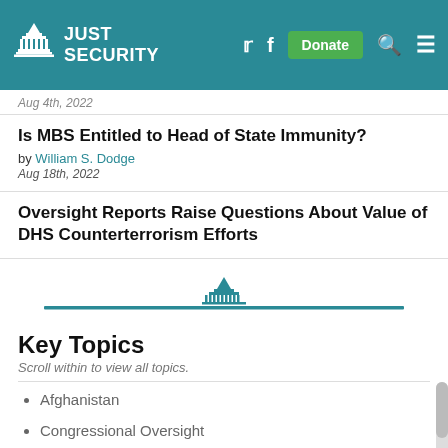Just Security
Aug 4th, 2022
Is MBS Entitled to Head of State Immunity?
by William S. Dodge
Aug 18th, 2022
Oversight Reports Raise Questions About Value of DHS Counterterrorism Efforts
[Figure (logo): Just Security capitol dome logo divider with teal horizontal rule]
Key Topics
Scroll within to view all topics.
Afghanistan
Congressional Oversight
Coronavirus